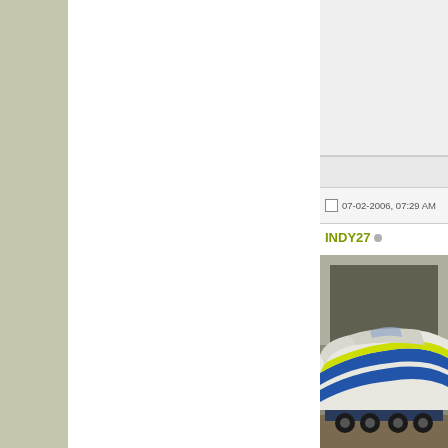07-02-2006, 07:29 AM
INDY27
[Figure (photo): Photo of a yellow and blue speedboat/powerboat on a trailer inside a garage or warehouse.]
| Field | Value |
| --- | --- |
| Join Date: | May 2005 |
| Location: | Montgomery, A |
| Posts: | 534 |
| +1: | 1 |
07-02-2006, 10:04 AM
RX951
Moderator